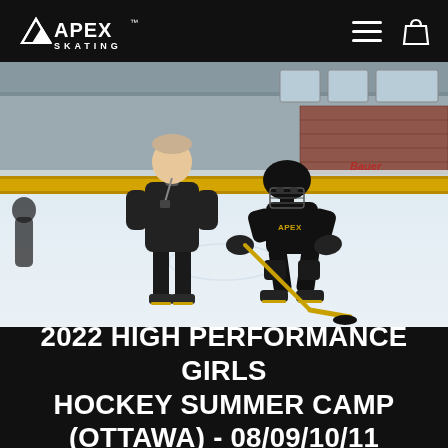APEX SKATING
[Figure (photo): Coach and young female player practicing on an indoor ice hockey rink. Both wearing black attire. Player in a low stance with a hockey stick and puck. Apex Skating branding on player jersey. Indoor arena with red brick walls and large windows visible in the background.]
2022 HIGH PERFORMANCE GIRLS HOCKEY SUMMER CAMP (OTTAWA) - 08/09/10/11